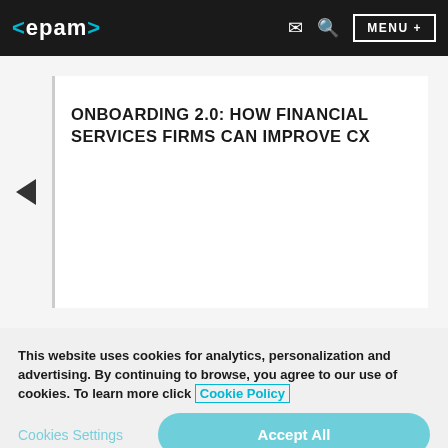<epam> [mail icon] [search icon] MENU +
ONBOARDING 2.0: HOW FINANCIAL SERVICES FIRMS CAN IMPROVE CX
DIGITAL RISK MANAGEMENT & AI: MINING RISK FROM DISPARATE DATA
This website uses cookies for analytics, personalization and advertising. By continuing to browse, you agree to our use of cookies. To learn more click Cookie Policy